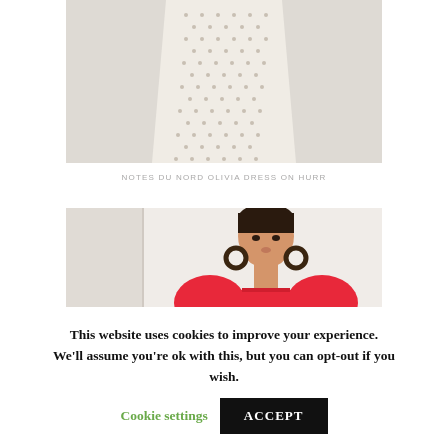[Figure (photo): Cropped photo of a white/cream dotted or patterned dress, showing the skirt portion against a light background.]
NOTES DU NORD OLIVIA DRESS ON HURR
[Figure (photo): Photo of a woman wearing a red puff-sleeve square-neck dress with large hoop earrings, shown from shoulders up.]
This website uses cookies to improve your experience. We'll assume you're ok with this, but you can opt-out if you wish.
Cookie settings
ACCEPT